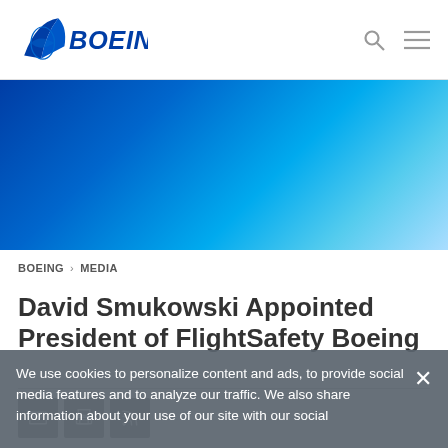BOEING — navigation header with logo, search, and menu icons
[Figure (illustration): Boeing blue gradient hero banner image]
BOEING > MEDIA
David Smukowski Appointed President of FlightSafety Boeing
[Figure (infographic): Share icons row: email, print, RSS]
We use cookies to personalize content and ads, to provide social media features and to analyze our traffic. We also share information about your use of our site with our social